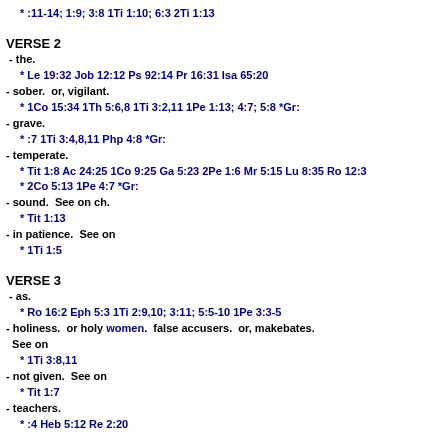* :11-14; 1:9; 3:8 1Ti 1:10; 6:3 2Ti 1:13
VERSE 2
- the.
* Le 19:32 Job 12:12 Ps 92:14 Pr 16:31 Isa 65:20
- sober.  or, vigilant.
* 1Co 15:34 1Th 5:6,8 1Ti 3:2,11 1Pe 1:13; 4:7; 5:8 *Gr:
- grave.
* :7 1Ti 3:4,8,11 Php 4:8 *Gr:
- temperate.
* Tit 1:8 Ac 24:25 1Co 9:25 Ga 5:23 2Pe 1:6 Mr 5:15 Lu 8:35 Ro 12:3
* 2Co 5:13 1Pe 4:7 *Gr:
- sound.  See on ch.
* Tit 1:13
- in patience.  See on
* 1Ti 1:5
VERSE 3
- as.
* Ro 16:2 Eph 5:3 1Ti 2:9,10; 3:11; 5:5-10 1Pe 3:3-5
- holiness.  or holy women.  false accusers.  or, makebates.  See on
* 1Ti 3:8,11
- not given.  See on
* Tit 1:7
- teachers.
* :4 Heb 5:12 Re 2:20